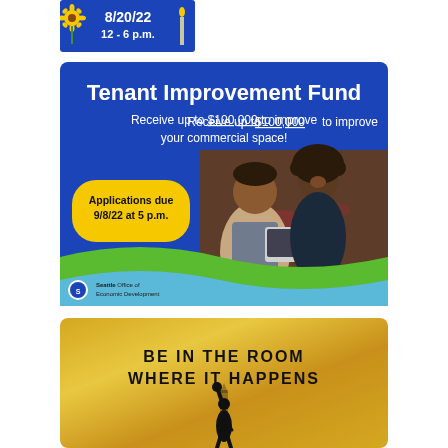[Figure (infographic): Small event banner showing date 8/20/22, 12 - 6 p.m. with sunflower decoration]
[Figure (infographic): Tenant Improvement Fund advertisement. Blue background with bold white title 'Tenant Improvement Fund'. Text: 'Receive up to $100,000 to improve your commercial space!' Yellow badge: 'Applications due 9/8/22 at 5 p.m.' Photo of two people (man and woman) looking at laptop in restaurant setting. Green and blue wave design at bottom. Seattle Office of Economic Development logo.]
[Figure (infographic): Gold textured background with bold black text 'BE IN THE ROOM WHERE IT HAPPENS' and a silhouette of a person raising their fist, partially visible.]